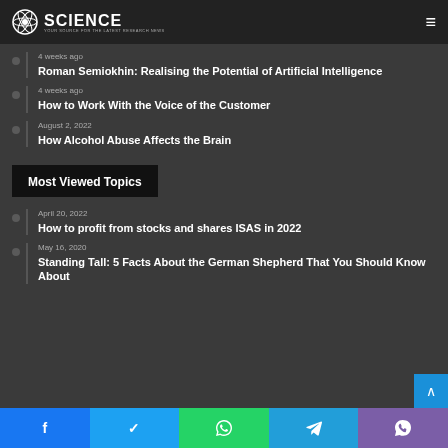SCIENCE — Your source for the latest research news
4 weeks ago
Roman Semiokhin: Realising the Potential of Artificial Intelligence
4 weeks ago
How to Work With the Voice of the Customer
August 2, 2022
How Alcohol Abuse Affects the Brain
Most Viewed Topics
April 20, 2022
How to profit from stocks and shares ISAS in 2022
May 16, 2020
Standing Tall: 5 Facts About the German Shepherd That You Should Know About
f  ✓  ⊕  ➤  ☏